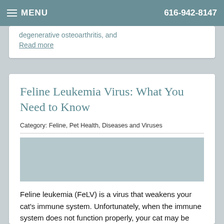MENU  616-942-8147
degenerative osteoarthritis, and
Read more
Feline Leukemia Virus: What You Need to Know
Category: Feline, Pet Health, Diseases and Viruses
Feline leukemia (FeLV) is a virus that weakens your cat's immune system. Unfortunately, when the immune system does not function properly, your cat may be more likely to develop other diseases, such as cancer and blood disorders. How Cats Contract